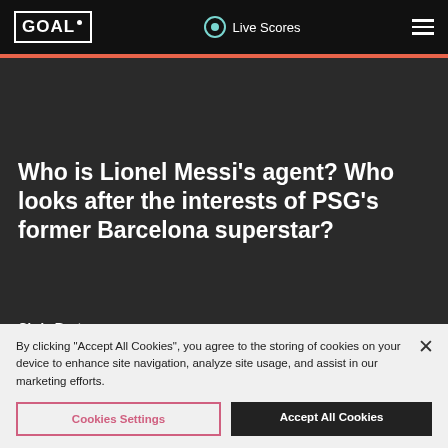GOAL · Live Scores
Who is Lionel Messi's agent? Who looks after the interests of PSG's former Barcelona superstar?
Chris Burton
By clicking “Accept All Cookies”, you agree to the storing of cookies on your device to enhance site navigation, analyze site usage, and assist in our marketing efforts.
Cookies Settings | Accept All Cookies